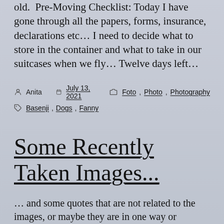old. Pre-Moving Checklist: Today I have gone through all the papers, forms, insurance, declarations etc... I need to decide what to store in the container and what to take in our suitcases when we fly... Twelve days left...
Anita  July 13, 2021  Foto, Photo, Photography
Basenji, Dogs, Fanny
Some Recently Taken Images...
... and some quotes that are not related to the images, or maybe they are in one way or another. “The purpose of our lives is to be